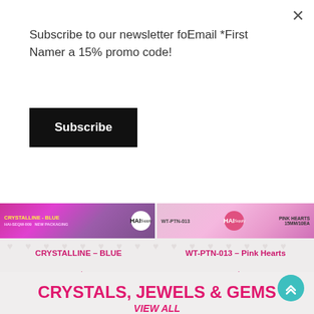Subscribe to our newsletter foEmail *First Namer a 15% promo code!
Subscribe
[Figure (screenshot): Product image for CRYSTALLINE - BLUE with pink/purple gradient background and HAI Supply logo]
[Figure (screenshot): Product image for WT-PTN-013 Pink Hearts with pink gradient background and HAI Supply logo]
CRYSTALLINE – BLUE
WT-PTN-013 – Pink Hearts
$4.99  $3.99
$3.99  $3.19
CRYSTALS, JEWELS & GEMS
VIEW ALL